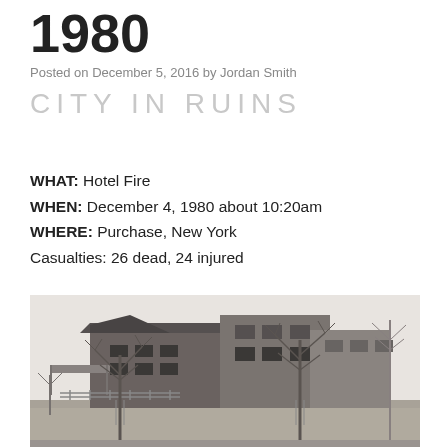1980
Posted on December 5, 2016 by Jordan Smith
CITY IN RUINS
WHAT: Hotel Fire
WHEN: December 4, 1980 about 10:20am
WHERE: Purchase, New York
Casualties: 26 dead, 24 injured
[Figure (photo): Black and white photograph of a modernist hotel building with angular architecture, bare trees in the foreground, and a grassy lawn, taken in winter.]